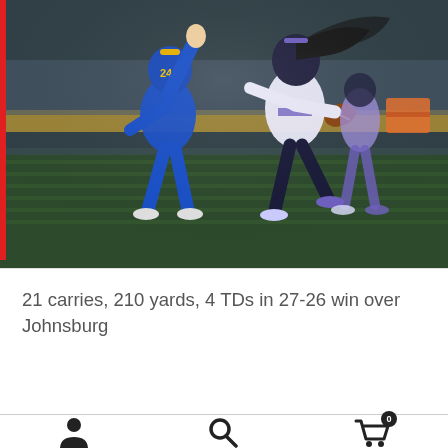[Figure (photo): Night football game action shot: a running back in white and purple uniform carrying the ball, stiff-arming a defender in blue and yellow uniform (#24), running on grass field at night with stadium lights.]
21 carries, 210 yards, 4 TDs in 27-26 win over Johnsburg
[Figure (infographic): Mobile app bottom navigation bar with three icons: person/user icon, search/magnifying glass icon, and shopping cart icon with badge showing '0'.]